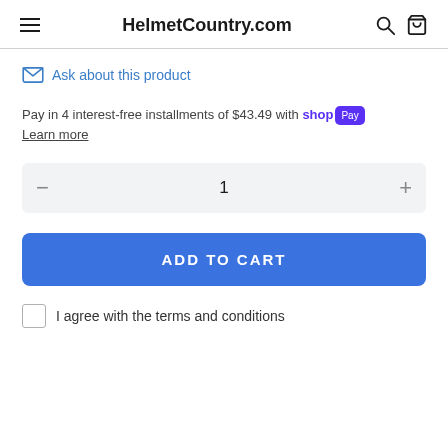HelmetCountry.com
Ask about this product
Pay in 4 interest-free installments of $43.49 with Shop Pay
Learn more
1
ADD TO CART
I agree with the terms and conditions